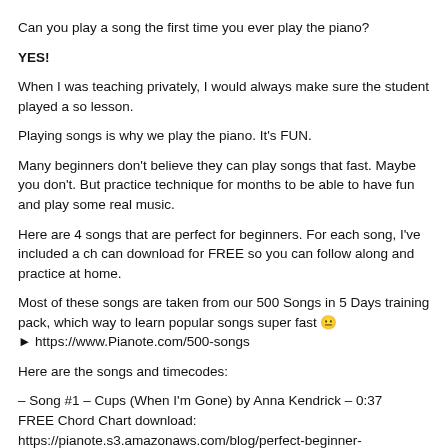Can you play a song the first time you ever play the piano?
YES!
When I was teaching privately, I would always make sure the student played a so lesson.
Playing songs is why we play the piano. It’s FUN.
Many beginners don’t believe they can play songs that fast. Maybe you don’t. But practice technique for months to be able to have fun and play some real music.
Here are 4 songs that are perfect for beginners. For each song, I’ve included a ch can download for FREE so you can follow along and practice at home.
Most of these songs are taken from our 500 Songs in 5 Days training pack, which way to learn popular songs super fast 😐
► https://www.Pianote.com/500-songs
Here are the songs and timecodes:
– Song #1 – Cups (When I’m Gone) by Anna Kendrick – 0:37
FREE Chord Chart download:
https://pianote.s3.amazonaws.com/blog/perfect-beginner-songs/When-Im-Gone.p
– Song #2 – Hello by Adele – 2:38
FREE Chord Chart download:
https://pianote.s3.amazonaws.com/blog/perfect-beginner-songs/Hello.pdf